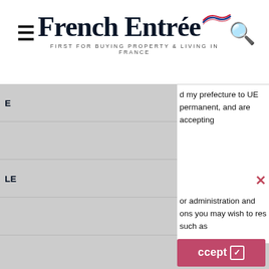French Entrée — FIRST FOR BUYING PROPERTY & LIVING IN FRANCE
d my prefecture to UE permanent, and are accepting
or administration and ons you may wish to res such as .
accept